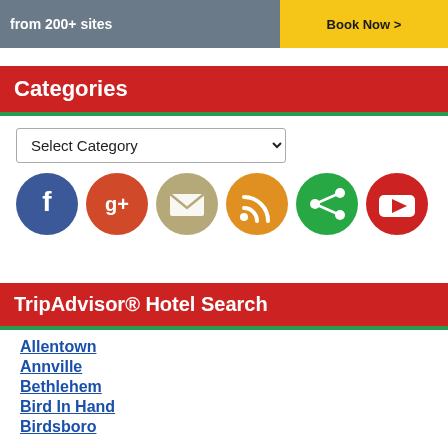[Figure (screenshot): Advertisement banner with text 'from 200+ sites' on left and 'Book Now >' button on yellow background on right]
Categories
Select Category (dropdown)
[Figure (infographic): Row of social media icon circles: Facebook, Google+, Email, RSS, Share, YouTube]
TripAdvisor® Hotel Search
Allentown
Annville
Bethlehem
Bird In Hand
Birdsboro